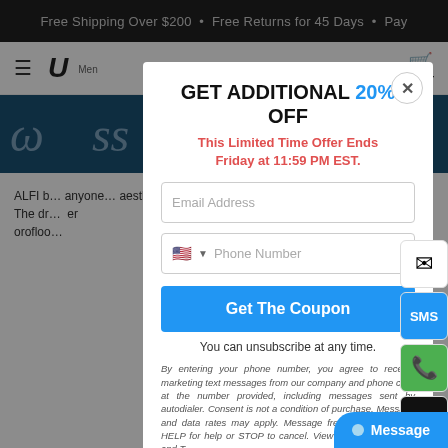Free Shipping Over $200  •  Free Returns for 45 Days  •  Pay
[Figure (screenshot): Website navigation bar with hamburger menu, logo starting with U, and cart icon]
[Figure (screenshot): Dark blue banner section with cursive text]
GET ADDITIONAL 20% OFF
This Limited Time Offer Ends Friday at 11:59 PM EST.
Email Address
Phone Number
Get The Coupon
You can unsubscribe at any time.
By entering your phone number, you agree to receive marketing text messages from our company and phone calls at the number provided, including messages sent by autodialer. Consent is not a condition of purchase. Message and data rates may apply. Message frequency v... Reply HELP for help or STOP to cancel. View our Privacy Policy and T...
ALFI b... anyone aesthe... conver... drains. The dr... orofloo...